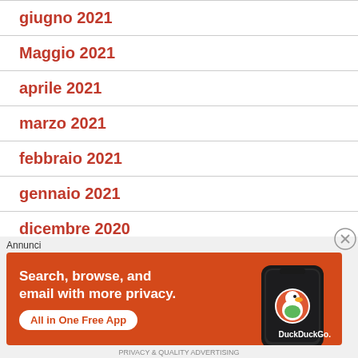giugno 2021
Maggio 2021
aprile 2021
marzo 2021
febbraio 2021
gennaio 2021
dicembre 2020
novembre 2020
ottobre 2020
[Figure (screenshot): DuckDuckGo advertisement banner: orange background with text 'Search, browse, and email with more privacy. All in One Free App' and DuckDuckGo app on phone mockup. Labeled 'Annunci' (Ads).]